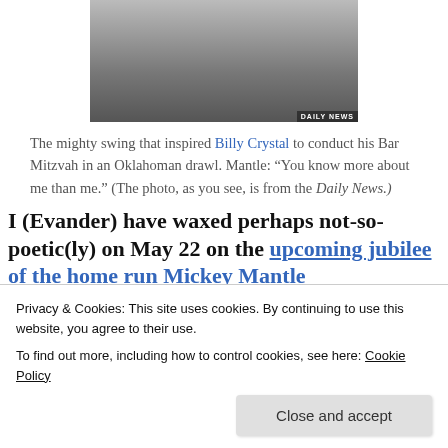[Figure (photo): Black and white photo of a baseball player mid-swing, with crowd in the background, watermarked 'DAILY NEWS' in the bottom right corner.]
The mighty swing that inspired Billy Crystal to conduct his Bar Mitzvah in an Oklahoman drawl. Mantle: “You know more about me than me.” (The photo, as you see, is from the Daily News.)
I (Evander) have waxed perhaps not-so-poetic(ly) on May 22 on the upcoming jubilee of the home run Mickey Mantle
Privacy & Cookies: This site uses cookies. By continuing to use this website, you agree to their use.
To find out more, including how to control cookies, see here: Cookie Policy
Close and accept